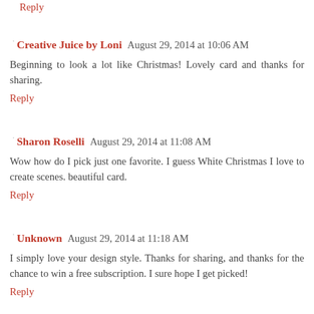Reply
Creative Juice by Loni  August 29, 2014 at 10:06 AM
Beginning to look a lot like Christmas! Lovely card and thanks for sharing.
Reply
Sharon Roselli  August 29, 2014 at 11:08 AM
Wow how do I pick just one favorite. I guess White Christmas I love to create scenes. beautiful card.
Reply
Unknown  August 29, 2014 at 11:18 AM
I simply love your design style. Thanks for sharing, and thanks for the chance to win a free subscription. I sure hope I get picked!
Reply